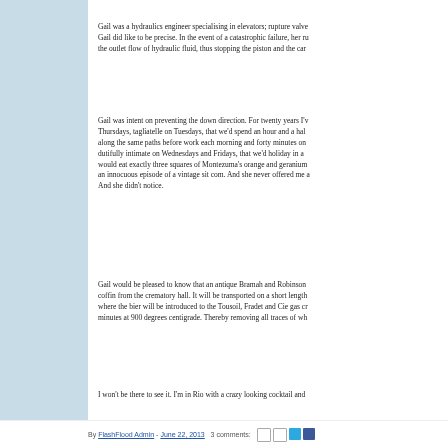Gail was a hydraulics engineer specialising in elevators; rupture valve Gail did like to be precise. In the event of a catastrophic failure, her ru the outlet flow of hydraulic fluid, thus stopping the piston and the car
Gail was intent on preventing the down direction. For twenty years I'v Thursdays, tagliatelle on Tuesdays, that we'd spend an hour and a hal along the same paths before work each morning and forty minutes on dutifully intimate on Wednesdays and Fridays, that we'd holiday in a would eat exactly three squares of Montezuma's orange and geranium an innocuous episode of a vintage sit com. And she never offered me a And she didn't notice.
Gail would be pleased to know that an antique Bramah and Robinson coffin from the crematory hall. It will be transported on a short length where the bier will be introduced to the Tousoil, Fradet and Cie gas cr minutes at 900 degrees centigrade. Thereby removing all traces of wh
I won't be there to see it. I'm in Rio with a crazy looking cocktail and
By FlashFlood Admin - June 22, 2013   3 comments: